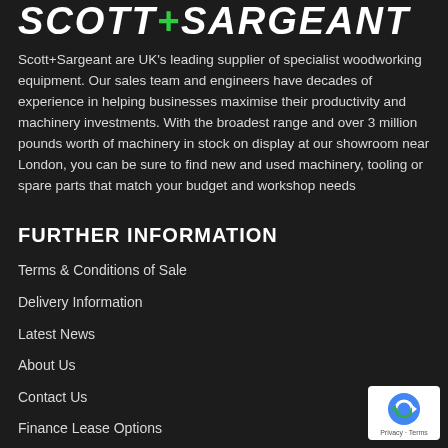Scott+Sargeant
Scott+Sargeant are UK's leading supplier of specialist woodworking equipment. Our sales team and engineers have decades of experience in helping businesses maximise their productivity and machinery investments. With the broadest range and over 3 million pounds worth of machinery in stock on display at our showroom near London, you can be sure to find new and used machinery, tooling or spare parts that match your budget and workshop needs
FURTHER INFORMATION
Terms & Conditions of Sale
Delivery Information
Latest News
About Us
Contact Us
Finance Lease Options
Your Surplus...
[Figure (logo): reCAPTCHA logo badge with Privacy and Terms text]